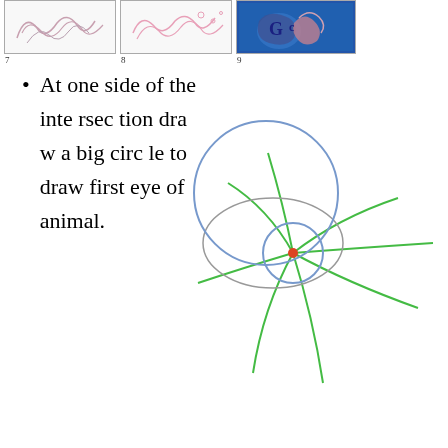[Figure (illustration): Three step-by-step drawing thumbnails numbered 7, 8, 9 showing progression of an animal illustration with swirling patterns]
At one side of the intersection draw a big circle to draw first eye of animal.
[Figure (illustration): Diagram showing two concentric blue circles (large and small) with a gray oval overlapping, a red dot at center of small circle, and eight green curved lines radiating outward like legs or tentacles]